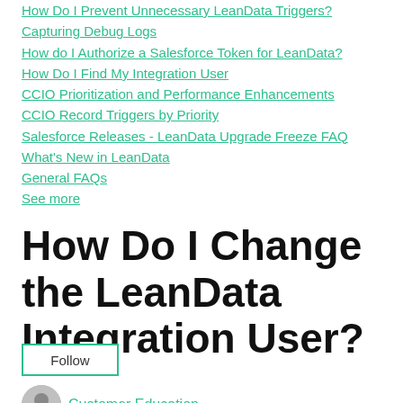How Do I Prevent Unnecessary LeanData Triggers?
Capturing Debug Logs
How do I Authorize a Salesforce Token for LeanData?
How Do I Find My Integration User
CCIO Prioritization and Performance Enhancements
CCIO Record Triggers by Priority
Salesforce Releases - LeanData Upgrade Freeze FAQ
What's New in LeanData
General FAQs
See more
How Do I Change the LeanData Integration User?
Follow
Customer Education